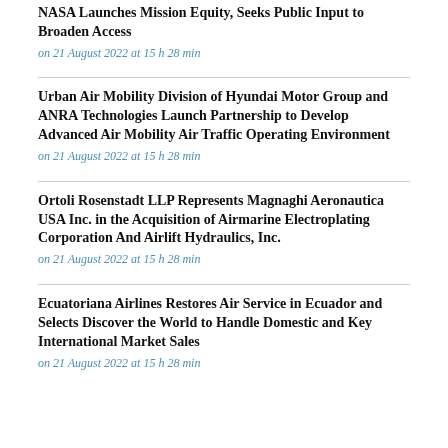NASA Launches Mission Equity, Seeks Public Input to Broaden Access
on 21 August 2022 at 15 h 28 min
Urban Air Mobility Division of Hyundai Motor Group and ANRA Technologies Launch Partnership to Develop Advanced Air Mobility Air Traffic Operating Environment
on 21 August 2022 at 15 h 28 min
Ortoli Rosenstadt LLP Represents Magnaghi Aeronautica USA Inc. in the Acquisition of Airmarine Electroplating Corporation And Airlift Hydraulics, Inc.
on 21 August 2022 at 15 h 28 min
Ecuatoriana Airlines Restores Air Service in Ecuador and Selects Discover the World to Handle Domestic and Key International Market Sales
on 21 August 2022 at 15 h 28 min